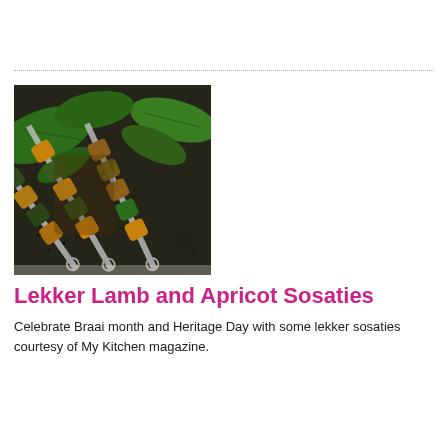[Figure (photo): Grilled lamb and apricot sosaties (kebabs) on skewers, served on a dark slate board with green leaves, photographed from above at an angle.]
Lekker Lamb and Apricot Sosaties
Celebrate Braai month and Heritage Day with some lekker sosaties courtesy of My Kitchen magazine.